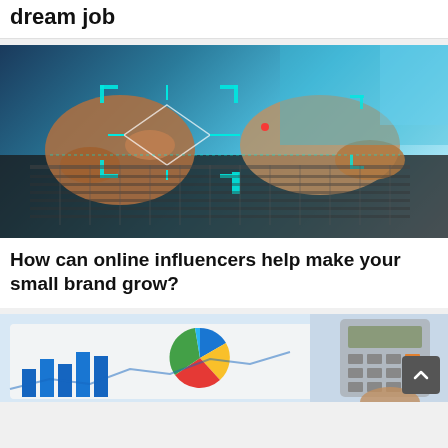dream job
[Figure (photo): Person typing on a laptop keyboard with cyan/teal technology overlay graphics and circuit-board-like scanning lines superimposed on the image]
How can online influencers help make your small brand grow?
[Figure (photo): Financial documents showing a pie chart and bar chart on a tablet or paper, with a calculator and hands visible on the right side]